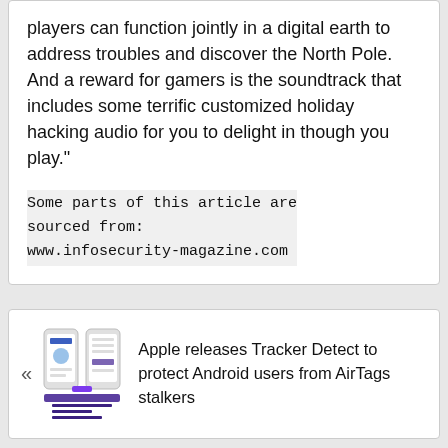players can function jointly in a digital earth to address troubles and discover the North Pole. And a reward for gamers is the soundtrack that includes some terrific customized holiday hacking audio for you to delight in though you play."
Some parts of this article are sourced from:
www.infosecurity-magazine.com
[Figure (screenshot): Screenshot of a smartphone showing a mobile app interface with blue and purple UI elements]
Apple releases Tracker Detect to protect Android users from AirTags stalkers